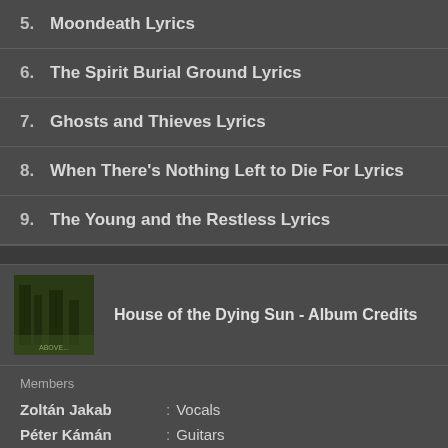5.  Moondeath Lyrics
6.  The Spirit Burial Ground Lyrics
7.  Ghosts and Thieves Lyrics
8.  When There's Nothing Left to Die For Lyrics
9.  The Young and the Restless Lyrics
House of the Dying Sun - Album Credits
Members
Zoltán Jakab : Vocals
Péter Kámán : Guitars
Bálint Szollár : Guitars